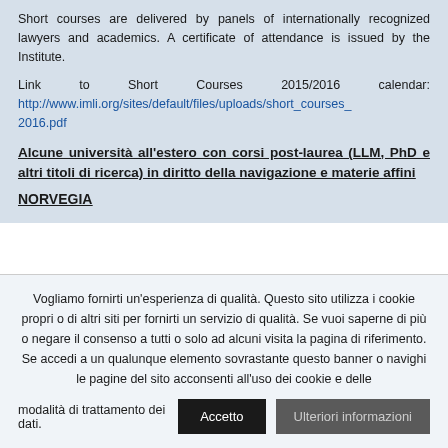Short courses are delivered by panels of internationally recognized lawyers and academics. A certificate of attendance is issued by the Institute.
Link to Short Courses 2015/2016 calendar: http://www.imli.org/sites/default/files/uploads/short_courses_2016.pdf
Alcune università all'estero con corsi post-laurea (LLM, PhD e altri titoli di ricerca) in diritto della navigazione e materie affini
NORVEGIA
Vogliamo fornirti un'esperienza di qualità. Questo sito utilizza i cookie propri o di altri siti per fornirti un servizio di qualità. Se vuoi saperne di più o negare il consenso a tutti o solo ad alcuni visita la pagina di riferimento. Se accedi a un qualunque elemento sovrastante questo banner o navighi le pagine del sito acconsenti all'uso dei cookie e delle modalità di trattamento dei dati.